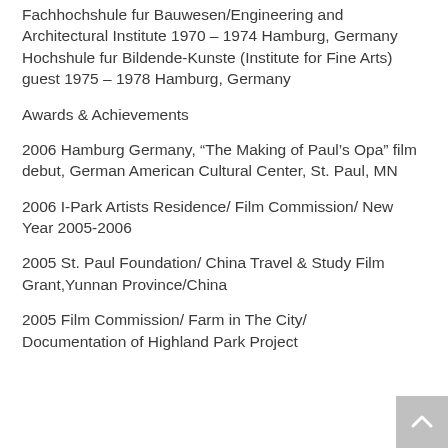Fachhochshule fur Bauwesen/Engineering and Architectural Institute 1970 – 1974 Hamburg, Germany
Hochshule fur Bildende-Kunste (Institute for Fine Arts) guest 1975 – 1978 Hamburg, Germany
Awards & Achievements
2006 Hamburg Germany, “The Making of Paul’s Opa” film debut, German American Cultural Center, St. Paul, MN
2006 I-Park Artists Residence/ Film Commission/ New Year 2005-2006
2005 St. Paul Foundation/ China Travel & Study Film Grant,Yunnan Province/China
2005 Film Commission/ Farm in The City/ Documentation of Highland Park Project